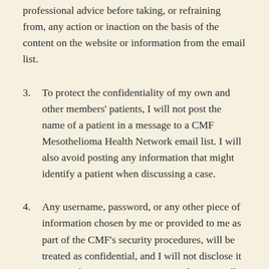professional advice before taking, or refraining from, any action or inaction on the basis of the content on the website or information from the email list.
3. To protect the confidentiality of my own and other members' patients, I will not post the name of a patient in a message to a CMF Mesothelioma Health Network email list. I will also avoid posting any information that might identify a patient when discussing a case.
4. Any username, password, or any other piece of information chosen by me or provided to me as part of the CMF's security procedures, will be treated as confidential, and I will not disclose it to any other person or entity. For clarity, I will take all possible steps to preserve the confidentiality of any password for the email list's website and archive of past [messages].